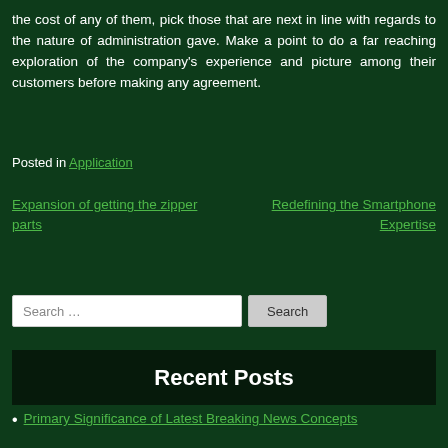the cost of any of them, pick those that are next in line with regards to the nature of administration gave. Make a point to do a far reaching exploration of the company's experience and picture among their customers before making any agreement.
Posted in Application
Expansion of getting the zipper parts
Redefining the Smartphone Expertise
Search …
Recent Posts
Primary Significance of Latest Breaking News Concepts